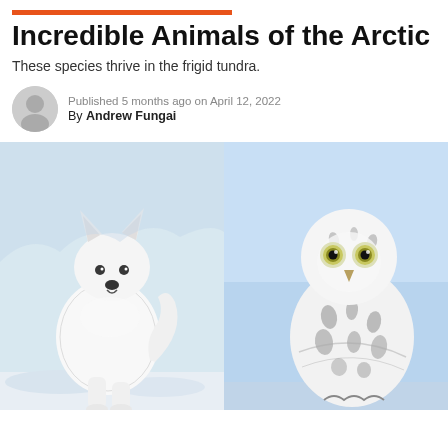Incredible Animals of the Arctic
These species thrive in the frigid tundra.
Published 5 months ago on April 12, 2022
By Andrew Fungai
[Figure (photo): Two-panel image: left panel shows a white arctic wolf standing in snow, right panel shows a snowy owl with yellow eyes against a light blue sky background]